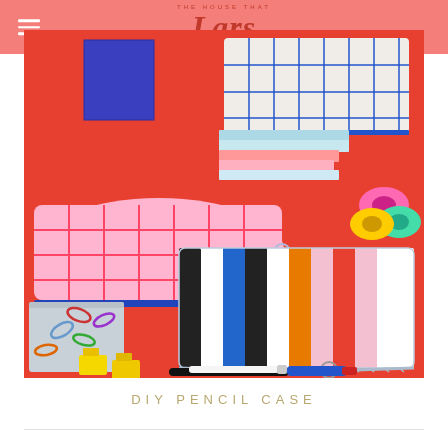THE HOUSE THAT Lars BUILT
[Figure (photo): Colorful DIY pencil cases displayed on a red/orange background with office supplies. A pink pencil case with blue grid pattern, a white pencil case with blue grid pattern, and a multicolor striped pencil case with black, blue, orange, yellow, pink, and white stripes. Scattered around are paper clips, binder clips, sticky notes, washi tape, and markers.]
DIY PENCIL CASE